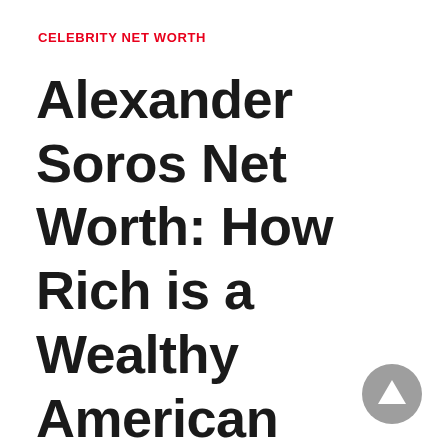CELEBRITY NET WORTH
Alexander Soros Net Worth: How Rich is a Wealthy American Investor?
[Figure (other): Gray circular scroll-to-top button with upward-pointing triangle arrow]